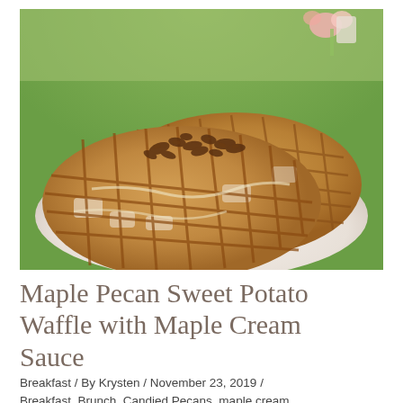[Figure (photo): Two round Belgian waffles topped with candied pecans and maple cream sauce, served on a white plate, with flowers visible in the background on green grass.]
Maple Pecan Sweet Potato Waffle with Maple Cream Sauce
Breakfast / By Krysten / November 23, 2019 / Breakfast, Brunch, Candied Pecans, maple cream